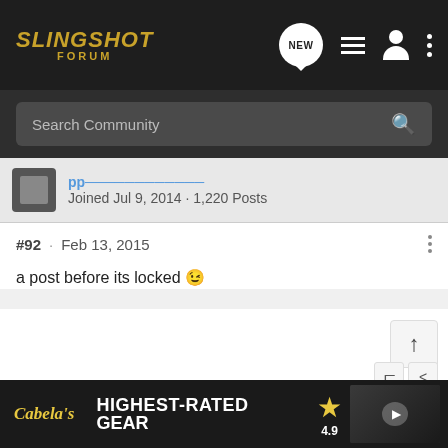SLINGSHOT FORUM
Search Community
Joined Jul 9, 2014 · 1,220 Posts
#92 · Feb 13, 2015
a post before its locked 😉
Olive wood forks for sale - PM me for details.
[Figure (photo): Cabela's advertisement banner: Highest-Rated Gear, rating 4.9 stars, product image with play button]